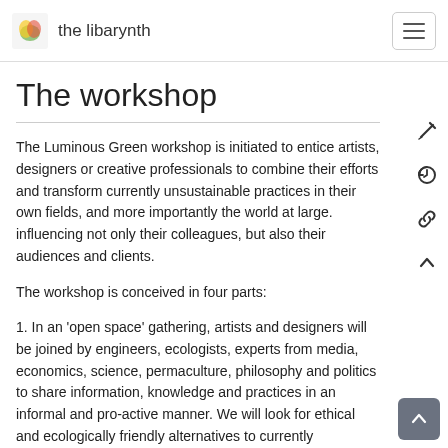the libarynth
The workshop
The Luminous Green workshop is initiated to entice artists, designers or creative professionals to combine their efforts and transform currently unsustainable practices in their own fields, and more importantly the world at large. influencing not only their colleagues, but also their audiences and clients.
The workshop is conceived in four parts:
1. In an 'open space' gathering, artists and designers will be joined by engineers, ecologists, experts from media, economics, science, permaculture, philosophy and politics to share information, knowledge and practices in an informal and pro-active manner. We will look for ethical and ecologically friendly alternatives to currently unsustainable cultural practices, able to